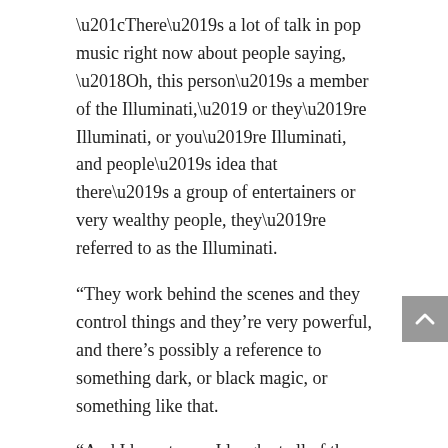“There’s a lot of talk in pop music right now about people saying, ‘Oh, this person’s a member of the Illuminati,’ or they’re Illuminati, or you’re Illuminati, and people’s idea that there’s a group of entertainers or very wealthy people, they’re referred to as the Illuminati.
“They work behind the scenes and they control things and they’re very powerful, and there’s possibly a reference to something dark, or black magic, or something like that.
“And I have to say I laugh at all of those things.
“I think there are some people who don’t mind being referred to as that, but I know who the real Illuminati are, and where that word came from.
“The root of the word is “illuminate”, and that means “The enlightened ones.”
“It came from the Age of Enlightenment, when a lot of